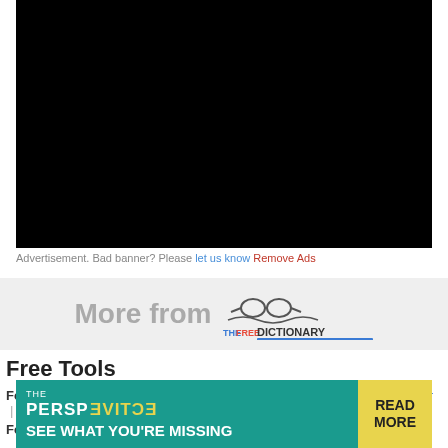[Figure (other): Black advertisement banner placeholder]
Advertisement. Bad banner? Please let us know Remove Ads
[Figure (logo): More from The Free Dictionary by Farlex logo banner]
Free Tools
For surfers: Free toolbar & extensions | Word of the Day | Word Finder | Help
For webmasters: Free content | Linking | lookup box
[Figure (other): Bottom advertisement banner: THE PERSPECTIVE - SEE WHAT YOU'RE MISSING - READ MORE]